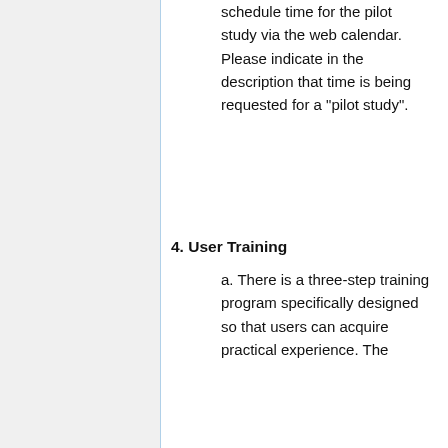schedule time for the pilot study via the web calendar. Please indicate in the description that time is being requested for a "pilot study".
4. User Training
a. There is a three-step training program specifically designed so that users can acquire practical experience. The